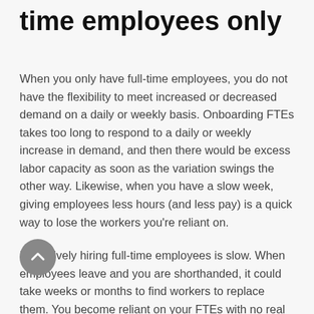time employees only
When you only have full-time employees, you do not have the flexibility to meet increased or decreased demand on a daily or weekly basis. Onboarding FTEs takes too long to respond to a daily or weekly increase in demand, and then there would be excess labor capacity as soon as the variation swings the other way. Likewise, when you have a slow week, giving employees less hours (and less pay) is a quick way to lose the workers you’re reliant on.
Exclusively hiring full-time employees is slow. When employees leave and you are shorthanded, it could take weeks or months to find workers to replace them. You become reliant on your FTEs with no real backup plan, so if something doesn’t